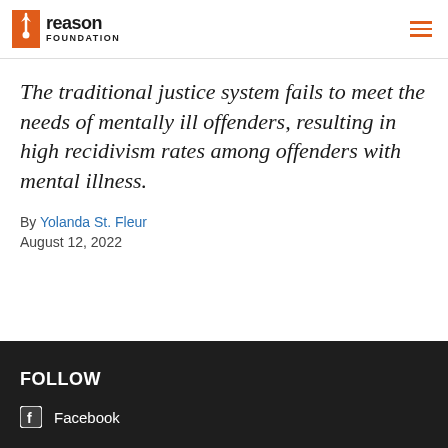Reason Foundation
The traditional justice system fails to meet the needs of mentally ill offenders, resulting in high recidivism rates among offenders with mental illness.
By Yolanda St. Fleur
August 12, 2022
FOLLOW
Facebook